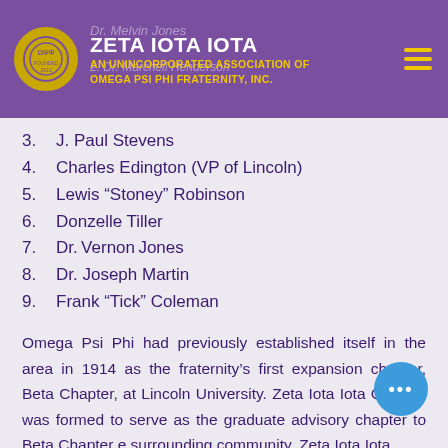ZETA IOTA IOTA
AN UNINCORPORATED ASSOCIATION OF
OMEGA PSI PHI FRATERNITY, INC.
3.  J. Paul Stevens
4.  Charles Edington (VP of Lincoln)
5.  Lewis “Stoney” Robinson
6.  Donzelle Tiller
7.  Dr. Vernon Jones
8.  Dr. Joseph Martin
9.  Frank “Tick” Coleman
Omega Psi Phi had previously established itself in the area in 1914 as the fraternity’s first expansion chapter, Beta Chapter, at Lincoln University. Zeta Iota Iota Chapter was formed to serve as the graduate advisory chapter to Beta Chapter and the surrounding community. Zeta Iota Iota